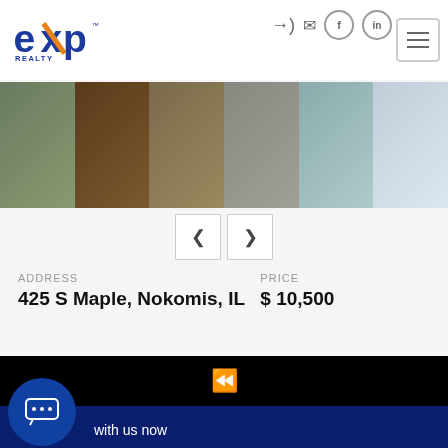[Figure (logo): eXp Realty logo in blue and orange]
[Figure (photo): Strip of 6 property photos showing exterior and interior of house at 425 S Maple, Nokomis, IL]
ADDRESS
425 S Maple, Nokomis, IL
PRICE
$ 10,500
[Figure (screenshot): Black video player bar with rewind icon]
Save
with us now